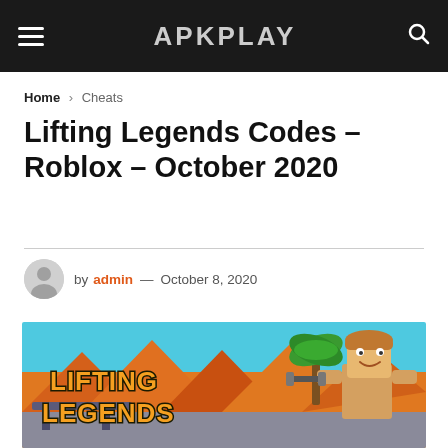APKPLAY
Home > Cheats
Lifting Legends Codes – Roblox – October 2020
by admin — October 8, 2020
[Figure (screenshot): Lifting Legends Roblox game promotional banner showing a Roblox character with orange pyramids and palm tree background, with 'LIFTING LEGENDS' text in orange bold letters]